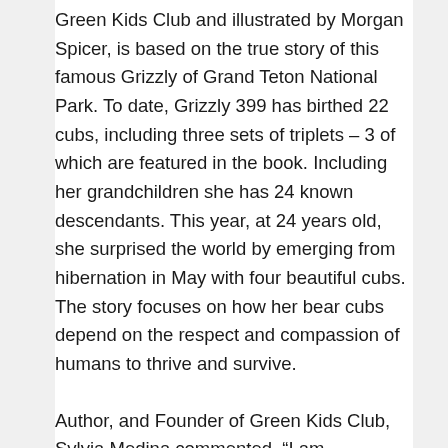Green Kids Club and illustrated by Morgan Spicer, is based on the true story of this famous Grizzly of Grand Teton National Park. To date, Grizzly 399 has birthed 22 cubs, including three sets of triplets – 3 of which are featured in the book. Including her grandchildren she has 24 known descendants. This year, at 24 years old, she surprised the world by emerging from hibernation in May with four beautiful cubs. The story focuses on how her bear cubs depend on the respect and compassion of humans to thrive and survive.
Author, and Founder of Green Kids Club, Sylvia Medina commented, “I am particularly excited about this book release since we got to collaborate with renowned wildlife photographer, Thomas Mangelsen, who has chronicled the life of Grizzly 399 for decades through his striking photos. He captured intimate images of this incredible bear